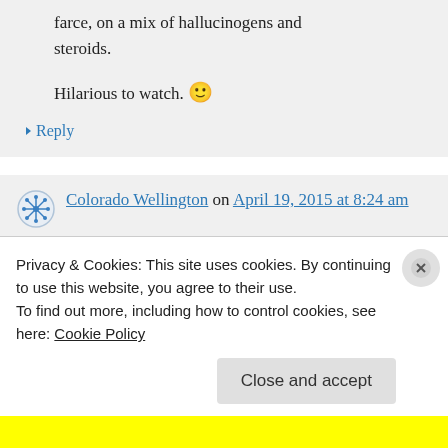farce, on a mix of hallucinogens and steroids.

Hilarious to watch. 🙂
↳ Reply
Colorado Wellington on April 19, 2015 at 8:24 am
I will never stop deriving pure joy …
Privacy & Cookies: This site uses cookies. By continuing to use this website, you agree to their use.
To find out more, including how to control cookies, see here: Cookie Policy
Close and accept